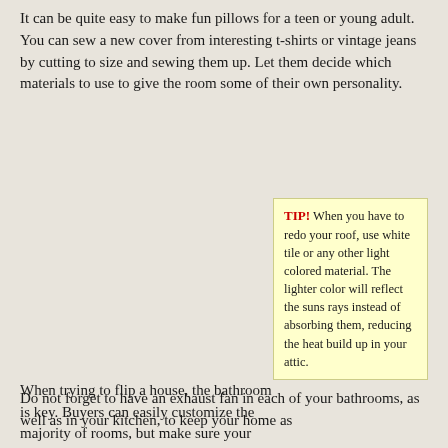It can be quite easy to make fun pillows for a teen or young adult. You can sew a new cover from interesting t-shirts or vintage jeans by cutting to size and sewing them up. Let them decide which materials to use to give the room some of their own personality.
When trying to flip a house, the bathroom is key. Buyers can easily customize the majority of rooms, but make sure your bathroom is attractive and in good working order. Be sure that your tub and sink are in great shape and if they aren't you should replace them. If you currently have linoleum flooring, replace it with tile.
TIP! When you have to redo your roof, use white tile or any other light colored material. The lighter color will reflect the suns rays instead of absorbing them, reducing the heat build up in your attic.
Do not forget to have an exhaust fan in each of your bathrooms, as well as in your kitchen, to keep your home as